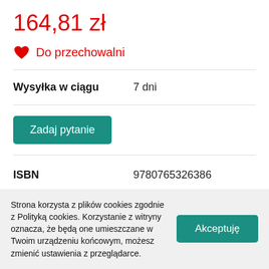164,81 zł
Do przechowalni
Wysyłka w ciągu   7 dni
Zadaj pytanie
ISBN   9780765326386
Opis
Strona korzysta z plików cookies zgodnie z Polityką cookies. Korzystanie z witryny oznacza, że będą one umieszczane w Twoim urządzeniu końcowym, możesz zmienić ustawienia z przeglądarce.
Akceptuję